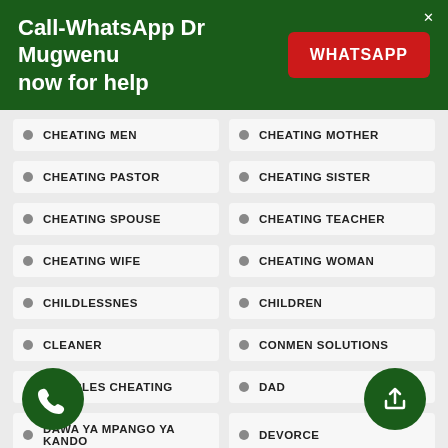Call-WhatsApp Dr Mugwenu now for help
CHEATING MEN
CHEATING MOTHER
CHEATING PASTOR
CHEATING SISTER
CHEATING SPOUSE
CHEATING TEACHER
CHEATING WIFE
CHEATING WOMAN
CHILDLESSNES
CHILDREN
CLEANER
CONMEN SOLUTIONS
COUPLES CHEATING
DAD
DAWA YA MPANGO YA KANDO
DEVORCE